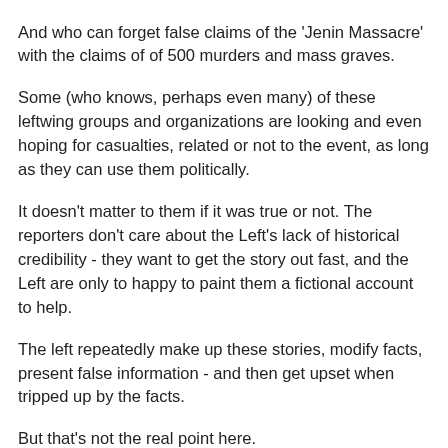And who can forget false claims of the 'Jenin Massacre' with the claims of of 500 murders and mass graves.
Some (who knows, perhaps even many) of these leftwing groups and organizations are looking and even hoping for casualties, related or not to the event, as long as they can use them politically.
It doesn't matter to them if it was true or not. The reporters don't care about the Left's lack of historical credibility - they want to get the story out fast, and the Left are only to happy to paint them a fictional account to help.
The left repeatedly make up these stories, modify facts, present false information - and then get upset when tripped up by the facts.
But that's not the real point here.
I guarantee the Bil'in protesters have spent all week working to get as many reporters to the violent Bil'in riots as possible this Friday - after all, what better way to callously capitalize on the deaths of someone on their side...